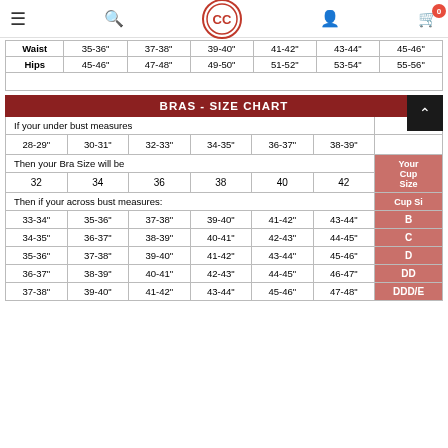Navigation bar with menu, search, logo, account, and cart (0) icons
|  | col1 | col2 | col3 | col4 | col5 | col6 |
| --- | --- | --- | --- | --- | --- | --- |
| Waist | 35-36" | 37-38" | 39-40" | 41-42" | 43-44" | 45-46" |
| Hips | 45-46" | 47-48" | 49-50" | 51-52" | 53-54" | 55-56" |
|  |  |  |  |  |  |  |
| BRAS - SIZE CHART |
| --- |
| If your under bust measures |  |  |  |  |  |  |
| 28-29" | 30-31" | 32-33" | 34-35" | 36-37" | 38-39" |  |
| Then your Bra Size will be |  |  |  |  |  |  |
| 32 | 34 | 36 | 38 | 40 | 42 | Your Cup Size |
| Then if your across bust measures: |  |  |  |  |  | Cup Size |
| 33-34" | 35-36" | 37-38" | 39-40" | 41-42" | 43-44" | B |
| 34-35" | 36-37" | 38-39" | 40-41" | 42-43" | 44-45" | C |
| 35-36" | 37-38" | 39-40" | 41-42" | 43-44" | 45-46" | D |
| 36-37" | 38-39" | 40-41" | 42-43" | 44-45" | 46-47" | DD |
| 37-38" | 39-40" | 41-42" | 43-44" | 45-46" | 47-48" | DDD/E |